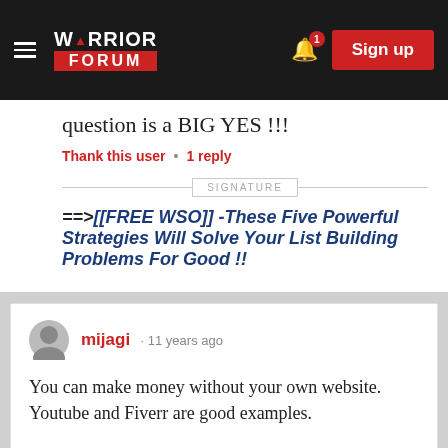[Figure (screenshot): Warrior Forum website header with logo, hamburger menu, notification bell with badge showing 1, and red Sign up button]
question is a BIG YES !!!
Thank this user • 1 reply
SIGNATURE
==>[[ FREE WSO]] -These Five Powerful Strategies Will Solve Your List Building Problems For Good !!
mijagi · 11 years ago
You can make money without your own website. Youtube and Fiverr are good examples.
However, when you're not